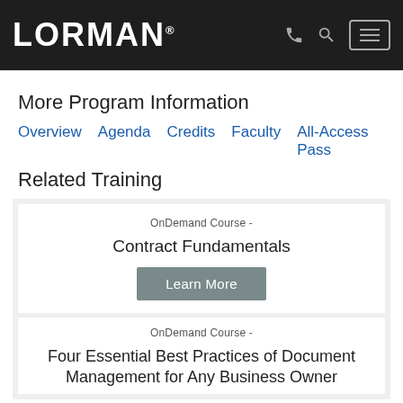LORMAN
More Program Information
Overview   Agenda   Credits   Faculty   All-Access Pass
Related Training
OnDemand Course -
Contract Fundamentals
Learn More
OnDemand Course -
Four Essential Best Practices of Document Management for Any Business Owner